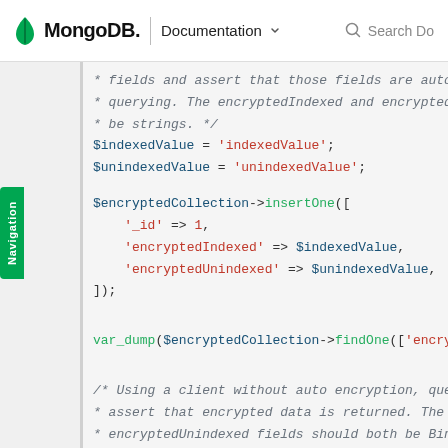MongoDB. | Documentation  Search Do
Navigation
* fields and assert that those fields are auto
 * querying. The encryptedIndexed and encrypted
 * be strings. */
$indexedValue = 'indexedValue';
$unindexedValue = 'unindexedValue';

$encryptedCollection->insertOne([
    '_id' => 1,
    'encryptedIndexed' => $indexedValue,
    'encryptedUnindexed' => $unindexedValue,
]);

var_dump($encryptedCollection->findOne(['encryp

/* Using a client without auto encryption, quer
 * assert that encrypted data is returned. The
 * encryptedUnindexed fields should both be Bin